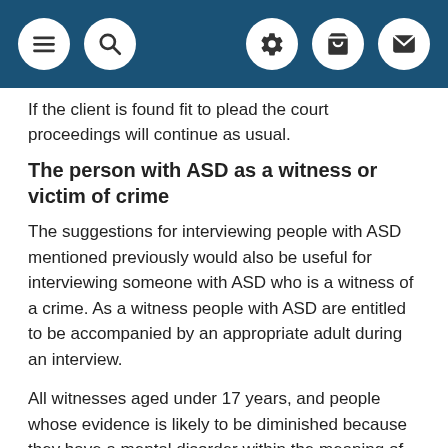[Navigation bar with menu, search, settings, cart, and mail icons]
If the client is found fit to plead the court proceedings will continue as usual.
The person with ASD as a witness or victim of crime
The suggestions for interviewing people with ASD mentioned previously would also be useful for interviewing someone with ASD who is a witness of a crime. As a witness people with ASD are entitled to be accompanied by an appropriate adult during an interview.
All witnesses aged under 17 years, and people whose evidence is likely to be diminished because they have a mental disorder within the meaning of the Mental Health Act 1983, or otherwise have significant impairment of intelligence or social functioning or have a physical disability or physical disorder, are eligible to apply for special measures. These may include: